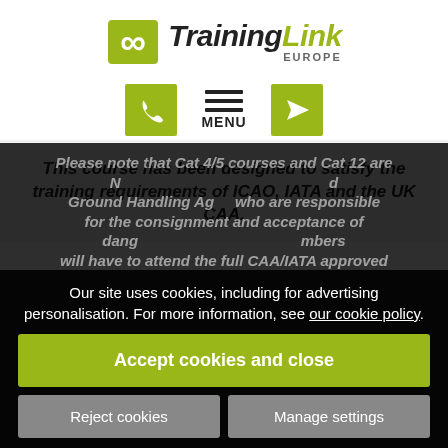[Figure (logo): TrainingLink Europe logo with green icon and bold italic wordmark]
[Figure (infographic): Navigation icons: phone button (green), hamburger menu with MENU label, location/send button (green)]
This course has been designed to satisfy the training requirements of ICAO, IATA and the UK CAA.
Please note that Cat 4/5 courses and Cat 12 are NOT... Ground Handling Agents who are responsible for the consignment and acceptance of dangerous goods... members will have to attend the full CAA/IATA approved...
Our site uses cookies, including for advertising personalisation. For more information, see our cookie policy.
Accept cookies and close
Reject cookies
Manage settings